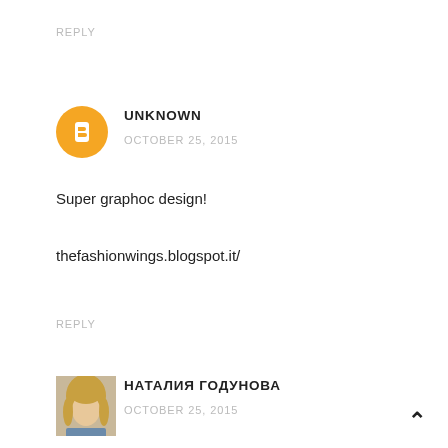REPLY
[Figure (illustration): Blogger orange circle avatar icon with white B letter]
UNKNOWN
OCTOBER 25, 2015
Super graphoc design!
thefashionwings.blogspot.it/
REPLY
[Figure (photo): Profile photo of a woman with blond hair]
НАТАЛИЯ ГОДУНОВА
OCTOBER 25, 2015